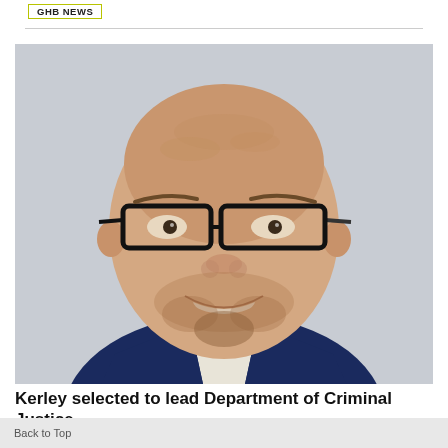GHB News
[Figure (photo): Headshot of a bald man with glasses and a dark beard, smiling, wearing a dark navy suit with a white shirt. Background is light gray.]
Kerley selected to lead Department of Criminal Justice
Back to Top